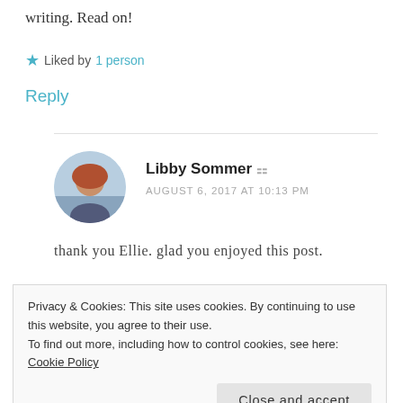writing. Read on!
★ Liked by 1 person
Reply
Libby Sommer
AUGUST 6, 2017 AT 10:13 PM
thank you Ellie. glad you enjoyed this post.
Privacy & Cookies: This site uses cookies. By continuing to use this website, you agree to their use.
To find out more, including how to control cookies, see here: Cookie Policy
Close and accept
D. Wallace Peach